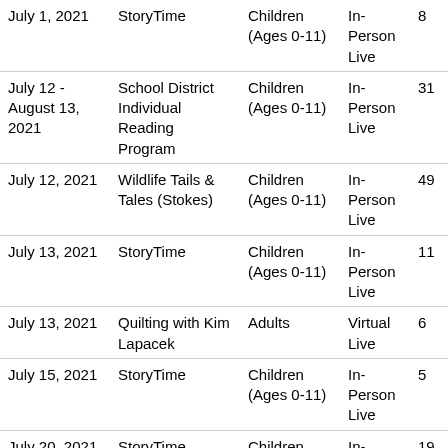| July 1, 2021 | StoryTime | Children (Ages 0-11) | In-Person Live | 8 |
| July 12 - August 13, 2021 | School District Individual Reading Program | Children (Ages 0-11) | In-Person Live | 31 |
| July 12, 2021 | Wildlife Tails & Tales (Stokes) | Children (Ages 0-11) | In-Person Live | 49 |
| July 13, 2021 | StoryTime | Children (Ages 0-11) | In-Person Live | 11 |
| July 13, 2021 | Quilting with Kim Lapacek | Adults | Virtual Live | 6 |
| July 15, 2021 | StoryTime | Children (Ages 0-11) | In-Person Live | 5 |
| July 20, 2021 | StoryTime | Children | In- | 19 |